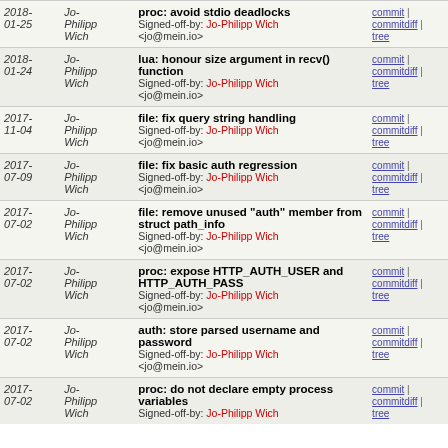| Date | Author | Commit | Links |
| --- | --- | --- | --- |
| 2018-01-25 | Jo-Philipp Wich | proc: avoid stdio deadlocks
Signed-off-by: Jo-Philipp Wich <jo@mein.io> | commit | commitdiff | tree |
| 2018-01-24 | Jo-Philipp Wich | lua: honour size argument in recv() function
Signed-off-by: Jo-Philipp Wich <jo@mein.io> | commit | commitdiff | tree |
| 2017-11-04 | Jo-Philipp Wich | file: fix query string handling
Signed-off-by: Jo-Philipp Wich <jo@mein.io> | commit | commitdiff | tree |
| 2017-07-09 | Jo-Philipp Wich | file: fix basic auth regression
Signed-off-by: Jo-Philipp Wich <jo@mein.io> | commit | commitdiff | tree |
| 2017-07-02 | Jo-Philipp Wich | file: remove unused "auth" member from struct path_info
Signed-off-by: Jo-Philipp Wich <jo@mein.io> | commit | commitdiff | tree |
| 2017-07-02 | Jo-Philipp Wich | proc: expose HTTP_AUTH_USER and HTTP_AUTH_PASS
Signed-off-by: Jo-Philipp Wich <jo@mein.io> | commit | commitdiff | tree |
| 2017-07-02 | Jo-Philipp Wich | auth: store parsed username and password
Signed-off-by: Jo-Philipp Wich <jo@mein.io> | commit | commitdiff | tree |
| 2017-07-02 | Jo-Philipp Wich | proc: do not declare empty process variables
Signed-off-by: Jo-Philipp Wich | commit | commitdiff | tree |